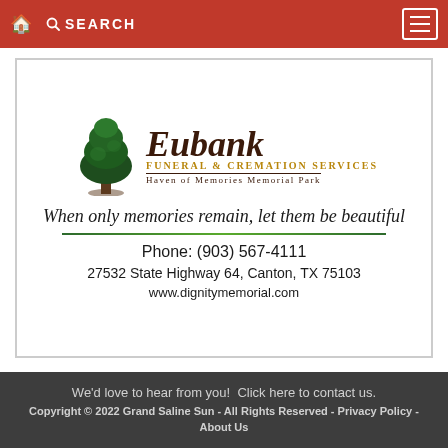🏠 SEARCH ☰
[Figure (illustration): Eubank Funeral & Cremation Services advertisement with tree logo, tagline 'When only memories remain, let them be beautiful', phone number (903) 567-4111, address 27532 State Highway 64, Canton, TX 75103, and website www.dignitymemorial.com]
We'd love to hear from you! Click here to contact us. Copyright © 2022 Grand Saline Sun - All Rights Reserved - Privacy Policy - About Us